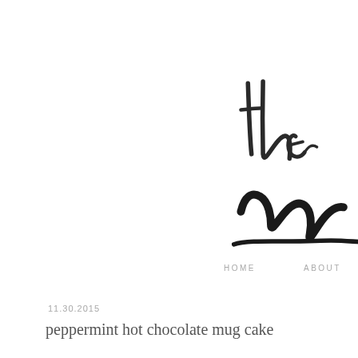[Figure (logo): Partial cursive/calligraphy logo text showing 'the' and 'm' in black brush script, cropped at right edge]
HOME   ABOUT
11.30.2015
peppermint hot chocolate mug cake